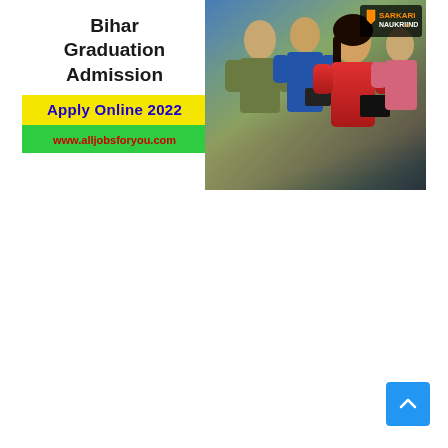[Figure (photo): Bihar Graduation Admission Apply Online 2022 banner. Left side shows white panel with text 'Bihar Graduation Admission', yellow bar with blue bold text 'Apply Online 2022', green bar with red text 'www.alljobsforyou.com'. Right side shows photo of students with Sarkari Naukriind logo.]
[Figure (other): Scroll-to-top button (blue square with upward chevron arrow) at bottom right of page.]